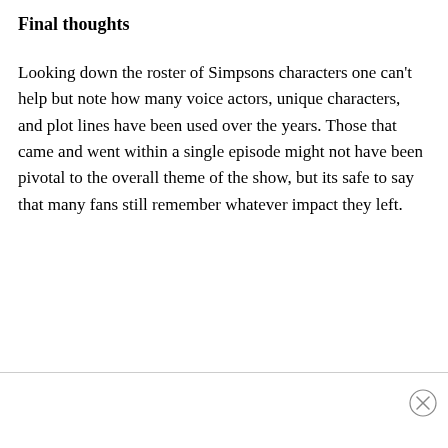Final thoughts
Looking down the roster of Simpsons characters one can't help but note how many voice actors, unique characters, and plot lines have been used over the years. Those that came and went within a single episode might not have been pivotal to the overall theme of the show, but its safe to say that many fans still remember whatever impact they left.